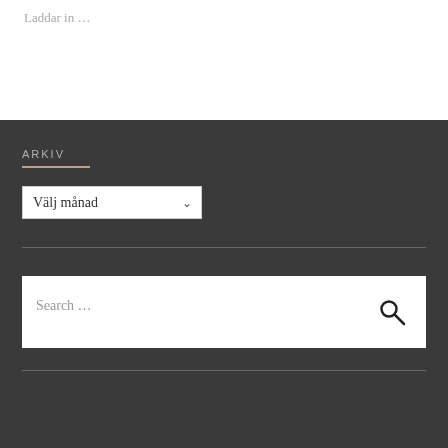Laddar in …
ARKIV
Välj månad
Search …